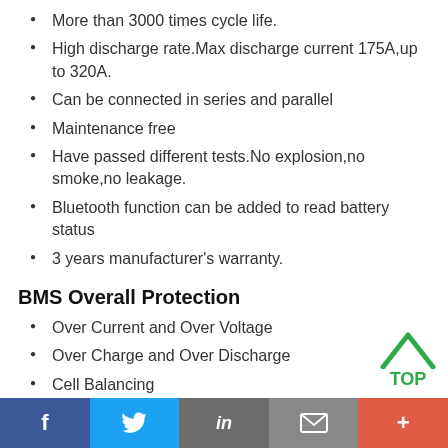More than 3000 times cycle life.
High discharge rate.Max discharge current 175A,up to 320A.
Can be connected in series and parallel
Maintenance free
Have passed different tests.No explosion,no smoke,no leakage.
Bluetooth function can be added to read battery status
3 years manufacturer's warranty.
BMS Overall Protection
Over Current and Over Voltage
Over Charge and Over Discharge
Cell Balancing
f  Twitter  in  mail  +